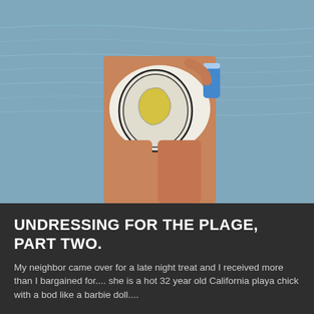[Figure (photo): Beach photo showing a person from the waist down in a white bikini bottom with a decorative map print, holding a blue can, standing in front of water]
UNDRESSING FOR THE PLAGE, PART TWO.
My neighbor came over for a late night treat and I received more than I bargained for.... she is a hot 32 year old California playa chick with a bod like a barbie doll....